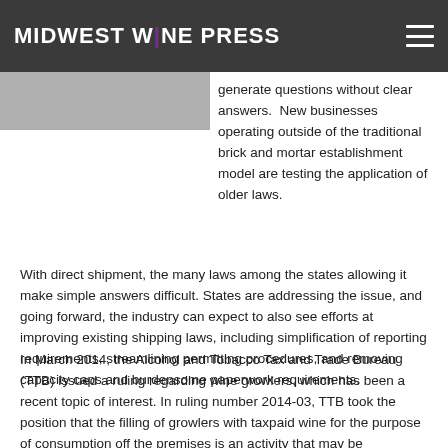MIDWEST WINE PRESS
[Figure (photo): Partial image visible at top left below header bar]
generate questions without clear answers.  New businesses operating outside of the traditional brick and mortar establishment model are testing the application of older laws.
With direct shipment, the many laws among the states allowing it make simple answers difficult. States are addressing the issue, and going forward, the industry can expect to also see efforts at improving existing shipping laws, including simplification of reporting requirements, streamlining permitting procedures, and removing capacity caps and burdensome paperwork requirements.
In March 2014, the Alcohol and Tobacco Tax and Trade Bureau (TTB) issued a ruling regarding wine growlers, which has been a recent topic of interest. In ruling number 2014-03, TTB took the position that the filling of growlers with taxpaid wine for the purpose of consumption off the premises is an activity that may be conducted